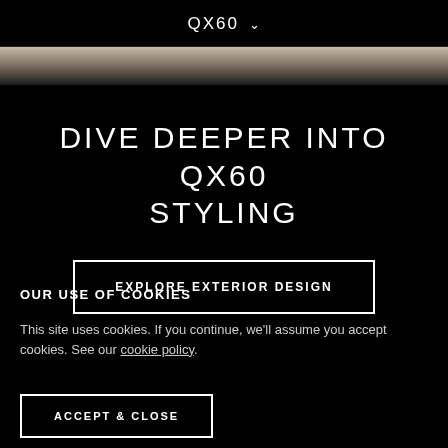QX60 ∨
[Figure (photo): Horizontal strip showing a car surface/roof in beige-grey gradient fading to black]
DIVE DEEPER INTO QX60 STYLING
EXPLORE EXTERIOR DESIGN
OUR USE OF COOKIES
This site uses cookies. If you continue, we'll assume you accept cookies. See our cookie policy.
ACCEPT & CLOSE